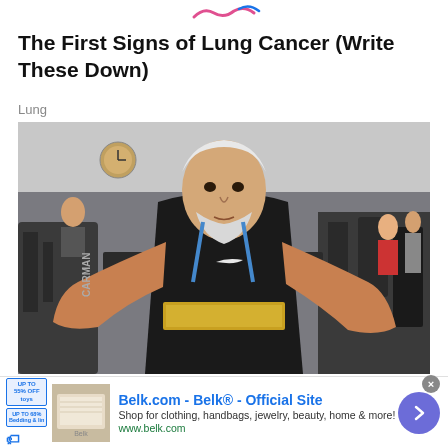The First Signs of Lung Cancer (Write These Down)
Lung
[Figure (photo): An elderly muscular man with a white beard wearing a black Nike sleeveless shirt and a gold weightlifting belt, holding his arms out wide in a gym setting showing large forearm muscles. Various gym equipment and other people are visible in the background.]
Belk.com - Belk® - Official Site
Shop for clothing, handbags, jewelry, beauty, home & more!
www.belk.com